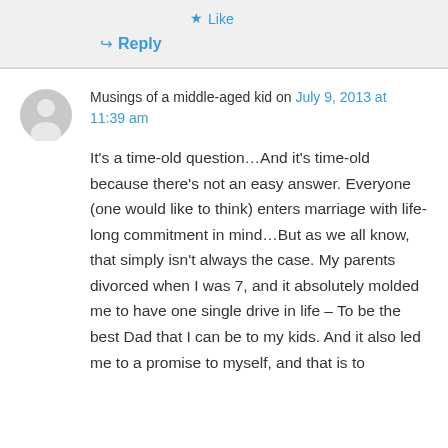Like
Reply
Musings of a middle-aged kid on July 9, 2013 at 11:39 am
It's a time-old question…And it's time-old because there's not an easy answer. Everyone (one would like to think) enters marriage with life-long commitment in mind…But as we all know, that simply isn't always the case. My parents divorced when I was 7, and it absolutely molded me to have one single drive in life – To be the best Dad that I can be to my kids. And it also led me to a promise to myself, and that is to